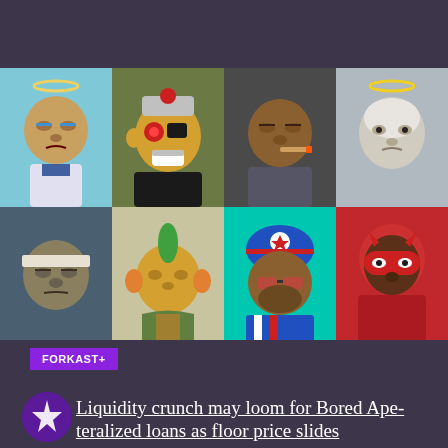[Figure (photo): Grid of 8 Bored Ape Yacht Club NFT images in two rows of four. Top row: ape with halo on light blue background, ape with robotic eye and futuristic gear on olive background, ape with cigar on dark grey background, ape with halo on grey background. Bottom row: ape with bandages on dark blue-grey background, golden ape with green mohawk on beige background, ape in American flag helmet on teal background, ape in red superhero mask on red background.]
FORKAST+
Liquidity crunch may loom for Bored Ape-teralized loans as floor price slides